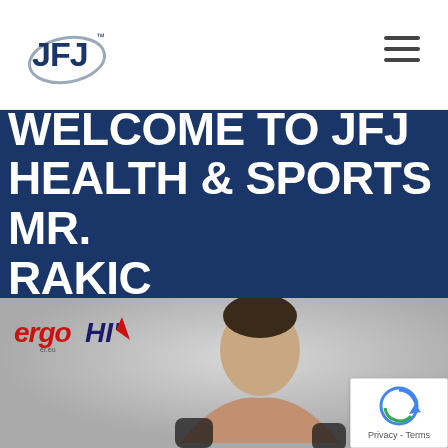[Figure (logo): JFJ logo with orbital ring, top left of navigation bar]
[Figure (illustration): Hamburger menu icon (three horizontal lines) top right of navigation bar]
WELCOME TO JFJ HEALTH & SPORTS MR. RAKIC
[Figure (photo): Photo section with ergoHi brand logo top left and a male MMA fighter/boxer with short dark hair looking at camera against a light grey background]
[Figure (logo): Google reCAPTCHA badge bottom right with Privacy - Terms text]